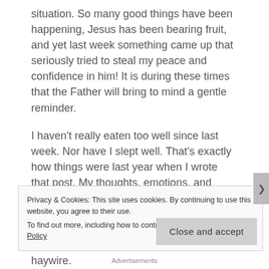situation. So many good things have been happening, Jesus has been bearing fruit, and yet last week something came up that seriously tried to steal my peace and confidence in him! It is during these times that the Father will bring to mind a gentle reminder.
I haven't really eaten too well since last week. Nor have I slept well. That's exactly how things were last year when I wrote that post. My thoughts, emotions, and feelings have been all over the place. But I am thankful that over the last couple of years I've had plenty of opportunity to learn that whilst all those things might be going haywire.
Privacy & Cookies: This site uses cookies. By continuing to use this website, you agree to their use.
To find out more, including how to control cookies, see here: Cookie Policy
Close and accept
Advertisements